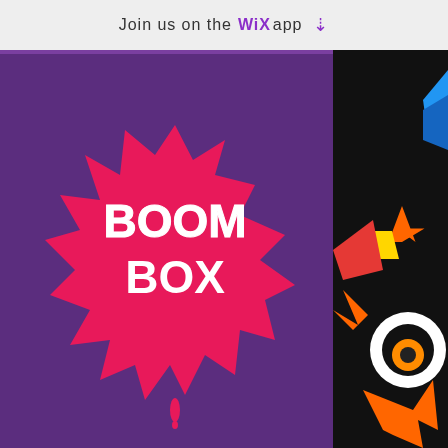Join us on the WiX app ⬇
[Figure (logo): BoomBox Games logo — white bold text 'BOOM BOX' on a hot-pink splat/burst shape, on a dark purple background]
[Figure (illustration): Hamburger menu icon (three horizontal orange lines) on purple background, with colorful game character art visible on right side]
Last updated April 30th, 2020
OVERVIEW
About us and how to contact us BoomBox Games Ltd. provides free mobile games and will process your personal information when you play our